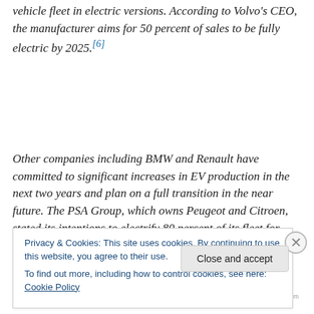vehicle fleet in electric versions. According to Volvo's CEO, the manufacturer aims for 50 percent of sales to be fully electric by 2025.[6]
Other companies including BMW and Renault have committed to significant increases in EV production in the next two years and plan on a full transition in the near future. The PSA Group, which owns Peugeot and Citroen, stated its intentions to electrify 80 percent of its fleet for...
Privacy & Cookies: This site uses cookies. By continuing to use this website, you agree to their use.
To find out more, including how to control cookies, see here: Cookie Policy